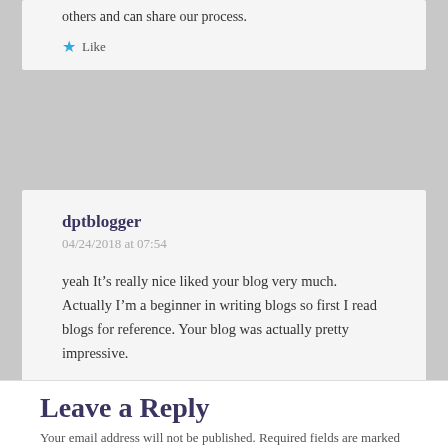others and can share our process.
Like
dptblogger
04/24/2018 at 07:54
yeah It’s really nice liked your blog very much. Actually I’m a beginner in writing blogs so first I read blogs for reference. Your blog was actually pretty impressive.
Liked by 1 person
Leave a Reply
Your email address will not be published. Required fields are marked